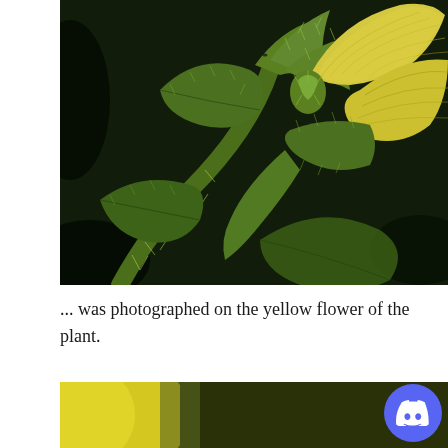[Figure (photo): Close-up macro photograph of a yellow flower bud on a hairy green plant stem, with dark green leaves in the background. The flower petals are pale yellow with green ridges, and the stem and leaves are covered in fine white hairs.]
... was photographed on the yellow flower of the plant.
[Figure (photo): Partial close-up photograph showing a bright yellow object (likely a flower or fruit) against a dark olive/green background, with a Discord button overlay in the bottom right corner.]